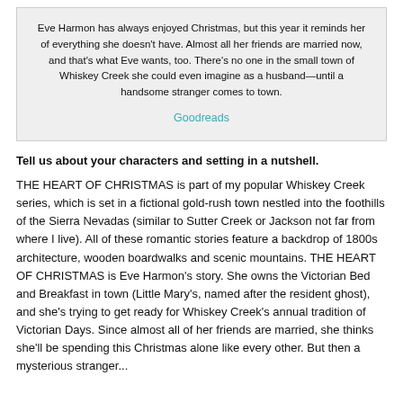Eve Harmon has always enjoyed Christmas, but this year it reminds her of everything she doesn't have. Almost all her friends are married now, and that's what Eve wants, too. There's no one in the small town of Whiskey Creek she could even imagine as a husband—until a handsome stranger comes to town.
Goodreads
Tell us about your characters and setting in a nutshell.
THE HEART OF CHRISTMAS is part of my popular Whiskey Creek series, which is set in a fictional gold-rush town nestled into the foothills of the Sierra Nevadas (similar to Sutter Creek or Jackson not far from where I live). All of these romantic stories feature a backdrop of 1800s architecture, wooden boardwalks and scenic mountains. THE HEART OF CHRISTMAS is Eve Harmon's story. She owns the Victorian Bed and Breakfast in town (Little Mary's, named after the resident ghost), and she's trying to get ready for Whiskey Creek's annual tradition of Victorian Days. Since almost all of her friends are married, she thinks she'll be spending this Christmas alone like every other. But then a mysterious stranger...